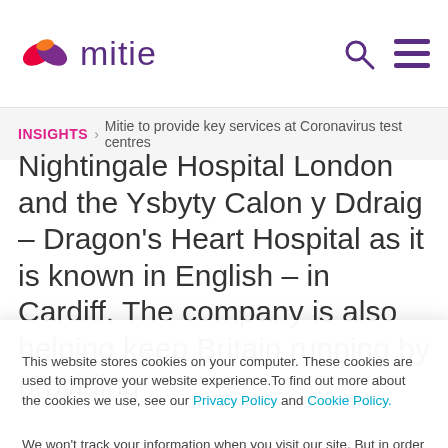mitie
INSIGHTS > Mitie to provide key services at Coronavirus test centres
Nightingale Hospital London and the Ysbyty Calon y Ddraig – Dragon's Heart Hospital as it is known in English – in Cardiff. The company is also helping keep Britain running by providing key services such as cleaning, security and
This website stores cookies on your computer. These cookies are used to improve your website experience. To find out more about the cookies we use, see our Privacy Policy and Cookie Policy.

We won't track your information when you visit our site. But in order to comply with your preferences, we'll have to use a cookie so that you're not asked to make this choice again.